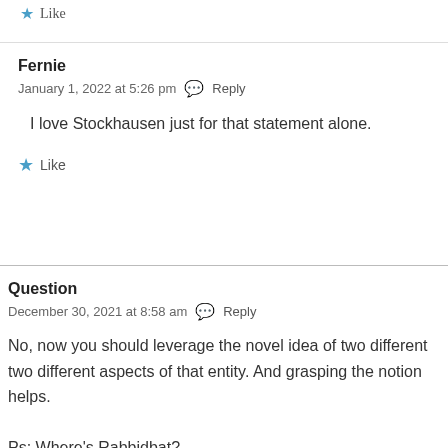Like
Fernie
January 1, 2022 at 5:26 pm  Reply
I love Stockhausen just for that statement alone.
Like
Question
December 30, 2021 at 8:58 am  Reply
No, now you should leverage the novel idea of two different two different aspects of that entity. And grasping the notion helps.

Ps: Where's Rabbidbat?
Like